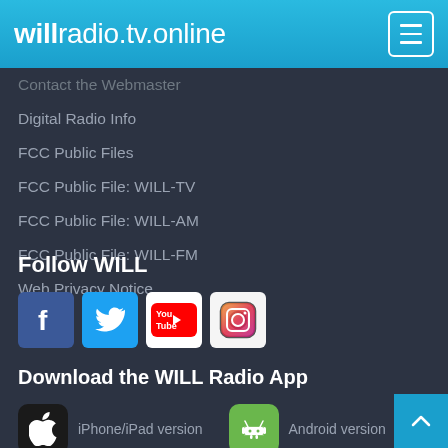willradio.tv.online
Contact the Webmaster
Digital Radio Info
FCC Public Files
FCC Public File: WILL-TV
FCC Public File: WILL-AM
FCC Public File: WILL-FM
Web Privacy Notice
Follow WILL
[Figure (other): Social media icons: Facebook, Twitter, YouTube, Instagram]
Download the WILL Radio App
[Figure (other): Apple App Store button with apple logo and label iPhone/iPad version; Google Play Store button with Android logo and label Android version]
WILL Newsletters
Subscribe to our newsletters to get updates about Illinois Public Media, plus information and...